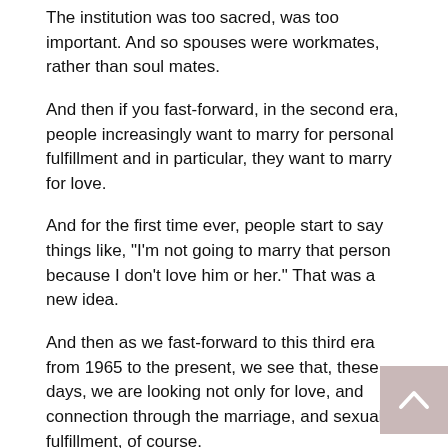The institution was too sacred, was too important. And so spouses were workmates, rather than soul mates.
And then if you fast-forward, in the second era, people increasingly want to marry for personal fulfillment and in particular, they want to marry for love.
And for the first time ever, people start to say things like, "I'm not going to marry that person because I don't love him or her." That was a new idea.
And then as we fast-forward to this third era from 1965 to the present, we see that, these days, we are looking not only for love, and connection through the marriage, and sexual fulfillment, of course.
But also for these more tricky, complicated sorts of need fulfillment. Needs like self-actualization, personal growth, and a sense of vitality.